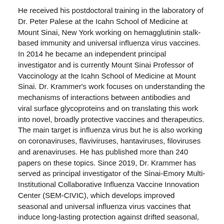He received his postdoctoral training in the laboratory of Dr. Peter Palese at the Icahn School of Medicine at Mount Sinai, New York working on hemagglutinin stalk-based immunity and universal influenza virus vaccines. In 2014 he became an independent principal investigator and is currently Mount Sinai Professor of Vaccinology at the Icahn School of Medicine at Mount Sinai. Dr. Krammer's work focuses on understanding the mechanisms of interactions between antibodies and viral surface glycoproteins and on translating this work into novel, broadly protective vaccines and therapeutics. The main target is influenza virus but he is also working on coronaviruses, flaviviruses, hantaviruses, filoviruses and arenaviruses. He has published more than 240 papers on these topics. Since 2019, Dr. Krammer has served as principal investigator of the Sinai-Emory Multi-Institutional Collaborative Influenza Vaccine Innovation Center (SEM-CIVIC), which develops improved seasonal and universal influenza virus vaccines that induce long-lasting protection against drifted seasonal, zoonotic and future pandemic influenza viruses.
labs.icahn.mssm.edu/krammerlab/dr-krammer/